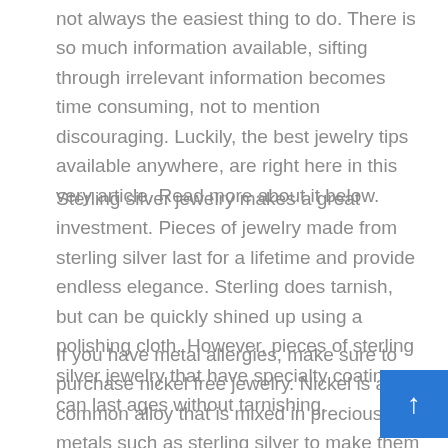not always the easiest thing to do. There is so much information available, sifting through irrelevant information becomes time consuming, not to mention discouraging. Luckily, the best jewelry tips available anywhere, are right here in this very article. Read more about it below.
Sterling silver jewelry makes a great investment. Pieces of jewelry made from sterling silver last for a lifetime and provide endless elegance. Sterling does tarnish, but can be quickly shined up using a polishing cloth. However, pieces of sterling silver jewelry that have specialty coating can last ages without tarnishing.
If you have metal allergies, make sure to purchase nickel free jewelry. Nickel is a common alloy that is mixed in precious metals such as sterling silver to make them pliable. Silver itself is very liquid in its original state and therefore not substantial enough to be properly molded into